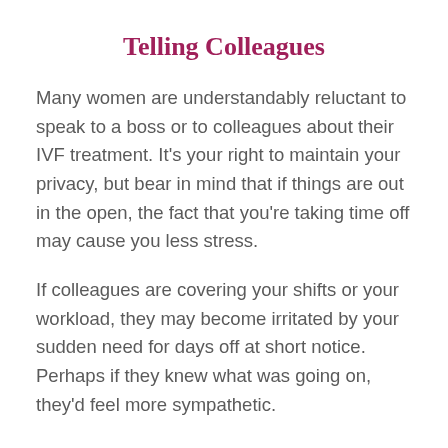Telling Colleagues
Many women are understandably reluctant to speak to a boss or to colleagues about their IVF treatment. It's your right to maintain your privacy, but bear in mind that if things are out in the open, the fact that you're taking time off may cause you less stress.
If colleagues are covering your shifts or your workload, they may become irritated by your sudden need for days off at short notice. Perhaps if they knew what was going on, they'd feel more sympathetic.